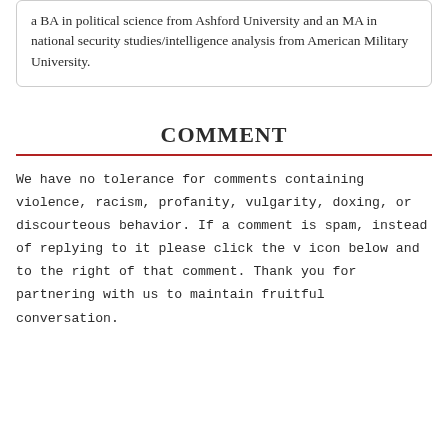a BA in political science from Ashford University and an MA in national security studies/intelligence analysis from American Military University.
COMMENT
We have no tolerance for comments containing violence, racism, profanity, vulgarity, doxing, or discourteous behavior. If a comment is spam, instead of replying to it please click the v icon below and to the right of that comment. Thank you for partnering with us to maintain fruitful conversation.